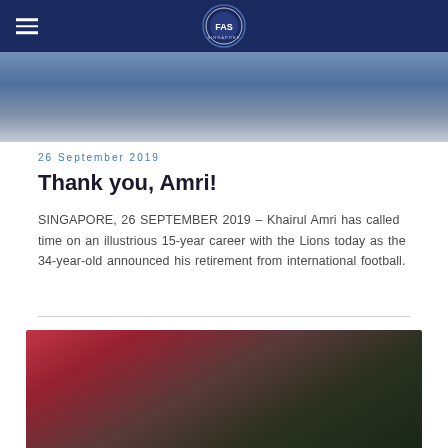Football Association of Singapore — navigation bar with logo
[Figure (photo): Top cropped action photo of a football match, showing players in blue kit near advertising boards]
26 September 2019
Thank you, Amri!
SINGAPORE, 26 SEPTEMBER 2019 – Khairul Amri has called time on an illustrious 15-year career with the Lions today as the 34-year-old announced his retirement from international football.
[Figure (photo): Bottom photo of Khairul Amri celebrating in red Singapore national team jersey, jumping with teammates and crowd in background]